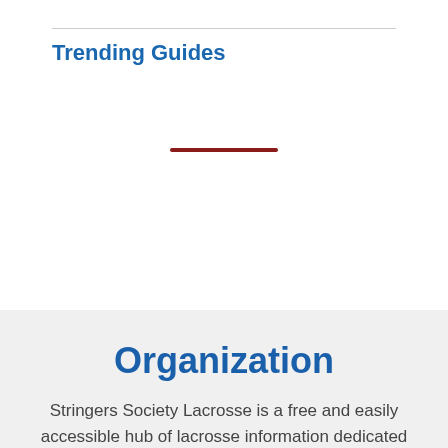Trending Guides
Organization
Stringers Society Lacrosse is a free and easily accessible hub of lacrosse information dedicated